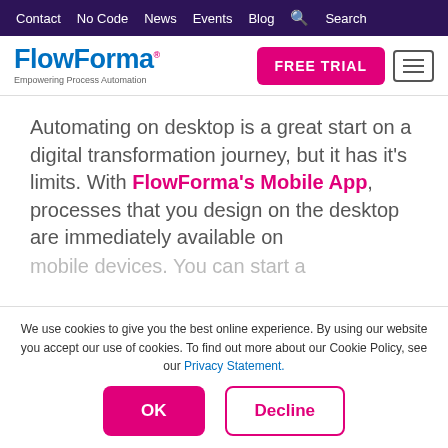Contact  No Code  News  Events  Blog  Search
[Figure (logo): FlowForma logo with tagline 'Empowering Process Automation']
Automating on desktop is a great start on a digital transformation journey, but it has it's limits. With FlowForma's Mobile App, processes that you design on the desktop are immediately available on mobile devices. You can start a
We use cookies to give you the best online experience. By using our website you accept our use of cookies. To find out more about our Cookie Policy, see our Privacy Statement.